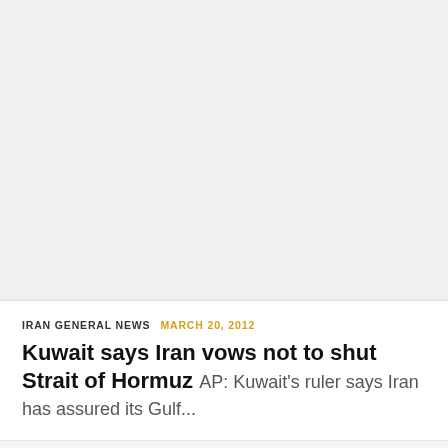[Figure (other): Large empty grey placeholder area at top of page]
IRAN GENERAL NEWS   MARCH 20, 2012
Kuwait says Iran vows not to shut Strait of Hormuz  AP: Kuwait's ruler says Iran has assured its Gulf...
RELATED
You might also like
Recommended to you